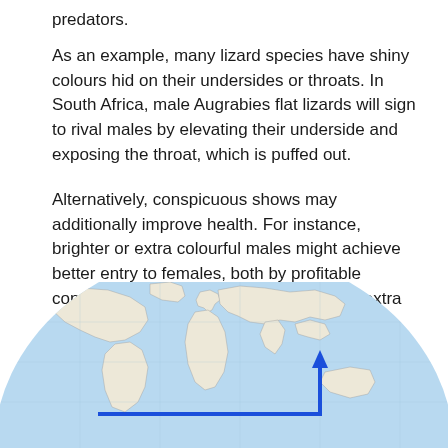predators.
As an example, many lizard species have shiny colours hid on their undersides or throats. In South Africa, male Augrabies flat lizards will sign to rival males by elevating their underside and exposing the throat, which is puffed out.
Alternatively, conspicuous shows may additionally improve health. For instance, brighter or extra colourful males might achieve better entry to females, both by profitable contests with rival males, or just showing extra engaging to females.
[Figure (map): A globe/hemisphere map showing the world with a blue arrow drawn horizontally from left, then turning upward — indicating a directional path across the world map.]